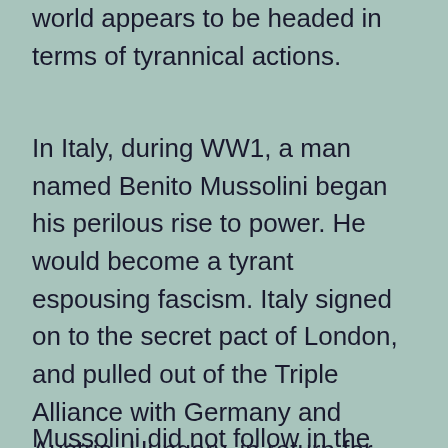world appears to be headed in terms of tyrannical actions.
In Italy, during WW1, a man named Benito Mussolini began his perilous rise to power. He would become a tyrant espousing fascism. Italy signed on to the secret pact of London, and pulled out of the Triple Alliance with Germany and Austria- Hungary, in return for guarantees from France and Great Britain of certain territories, and a huge loan of 50 million British Pounds. On May 21, 1915 Italy declared war on Austria-Hungary. (1)
Mussolini did not follow in the socialist...